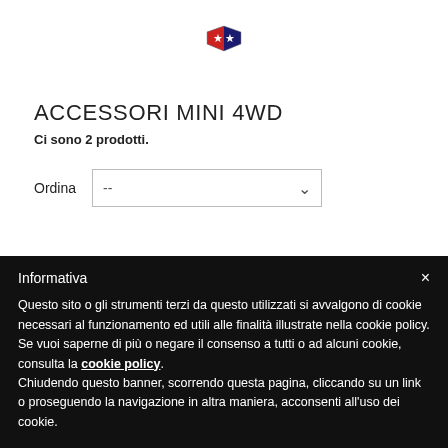[Figure (logo): Tamiya logo with two red stars on blue and red shield background]
ACCESSORI MINI 4WD
Ci sono 2 prodotti.
Ordina --
Informativa
Questo sito o gli strumenti terzi da questo utilizzati si avvalgono di cookie necessari al funzionamento ed utili alle finalità illustrate nella cookie policy. Se vuoi saperne di più o negare il consenso a tutti o ad alcuni cookie, consulta la cookie policy.
Chiudendo questo banner, scorrendo questa pagina, cliccando su un link o proseguendo la navigazione in altra maniera, acconsenti all'uso dei cookie.